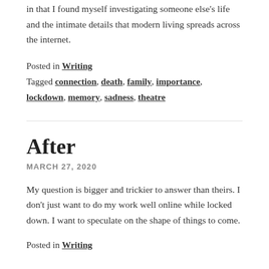in that I found myself investigating someone else's life and the intimate details that modern living spreads across the internet.
Posted in Writing
Tagged connection, death, family, importance, lockdown, memory, sadness, theatre
After
MARCH 27, 2020
My question is bigger and trickier to answer than theirs. I don't just want to do my work well online while locked down. I want to speculate on the shape of things to come.
Posted in Writing